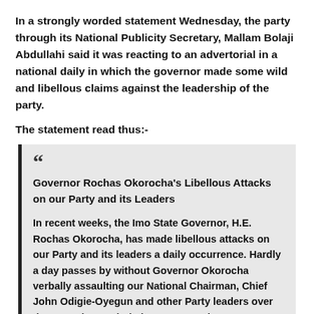In a strongly worded statement Wednesday, the party through its National Publicity Secretary, Mallam Bolaji Abdullahi said it was reacting to an advertorial in a national daily in which the governor made some wild and libellous claims against the leadership of the party.
The statement read thus:-
Governor Rochas Okorocha's Libellous Attacks on our Party and its Leaders

In recent weeks, the Imo State Governor, H.E. Rochas Okorocha, has made libellous attacks on our Party and its leaders a daily occurrence. Hardly a day passes by without Governor Okorocha verbally assaulting our National Chairman, Chief John Odigie-Oyegun and other Party leaders over the recently concluded Congresses in Imo State.